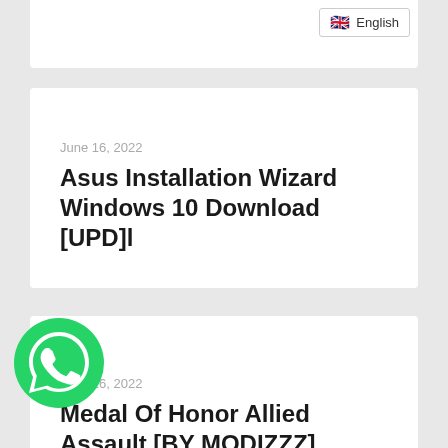English
June 16, 2022
Asus Installation Wizard Windows 10 Download [UPD]l
June 16, 2022
Medal Of Honor Allied Assault [BY MODIZZZ] Torrent |BEST|